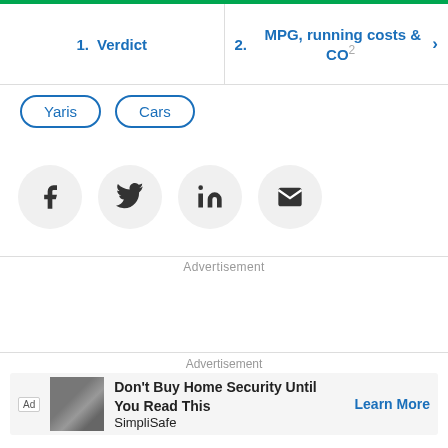1. Verdict | 2. MPG, running costs & CO2
Yaris
Cars
[Figure (infographic): Social share buttons: Facebook, Twitter, LinkedIn, Email]
Advertisement
Advertisement
Don't Buy Home Security Until You Read This SimpliSafe Learn More